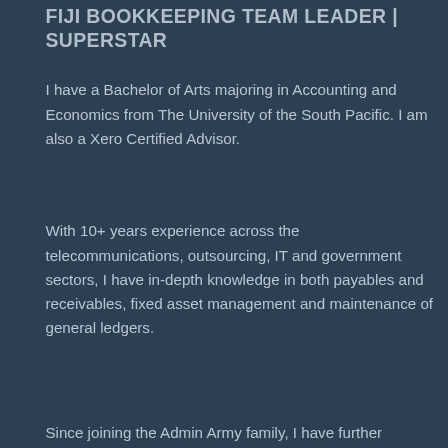FIJI BOOKKEEPING TEAM LEADER | SUPERSTAR
I have a Bachelor of Arts majoring in Accounting and Economics from The University of the South Pacific. I am also a Xero Certified Advisor.
With 10+ years experience across the telecommunications, outsourcing, IT and government sectors, I have in-depth knowledge in both payables and receivables, fixed asset management and maintenance of general ledgers.
Since joining the Admin Army family, I have further expanded my skill set to include accounting system [Xero] and a [...] for
[Figure (screenshot): Chat popup overlay with dog icon and text: 'Hi there. We'd love to hear more about your organisation! How can we help?' with a close X button and chat widget button with red notification dot in bottom right]
The best thing about bookkeeping is the opportunity to [learn about the different businesses encountered and the]